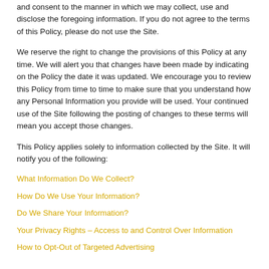and consent to the manner in which we may collect, use and disclose the foregoing information. If you do not agree to the terms of this Policy, please do not use the Site.
We reserve the right to change the provisions of this Policy at any time. We will alert you that changes have been made by indicating on the Policy the date it was updated. We encourage you to review this Policy from time to time to make sure that you understand how any Personal Information you provide will be used. Your continued use of the Site following the posting of changes to these terms will mean you accept those changes.
This Policy applies solely to information collected by the Site. It will notify you of the following:
What Information Do We Collect?
How Do We Use Your Information?
Do We Share Your Information?
Your Privacy Rights – Access to and Control Over Information
How to Opt-Out of Targeted Advertising